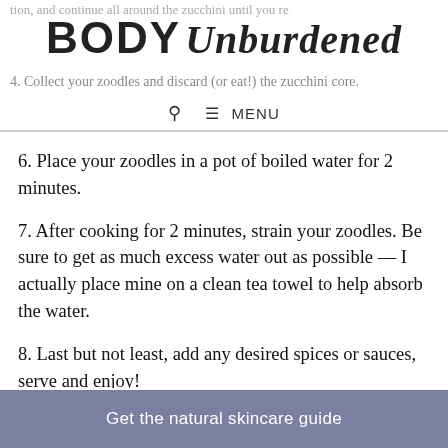BODY Unburdened
tion, and continue all around the zucchini until you reach the opposite middle of the zucchini.
4. Collect your zoodles and discard (or eat!) the zucchini core.
6. Place your zoodles in a pot of boiled water for 2 minutes.
7. After cooking for 2 minutes, strain your zoodles. Be sure to get as much excess water out as possible — I actually place mine on a clean tea towel to help absorb the water.
8. Last but not least, add any desired spices or sauces, serve and enjoy!
Get the natural skincare guide